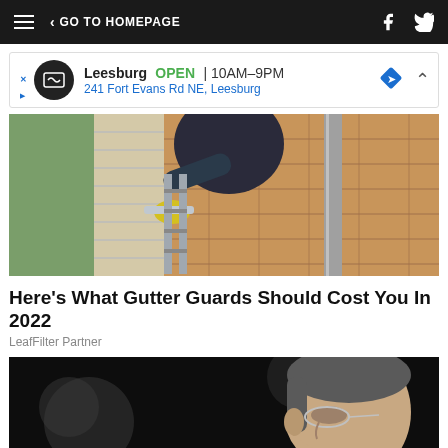GO TO HOMEPAGE
[Figure (screenshot): Advertisement banner: Leesburg store, OPEN 10AM-9PM, 241 Fort Evans Rd NE, Leesburg]
[Figure (photo): Worker in yellow gloves cleaning gutters on a rooftop with a ladder and downspout visible]
Here's What Gutter Guards Should Cost You In 2022
LeafFilter Partner
[Figure (photo): Close-up profile photo of an older man with gray hair and glasses against a dark blurred background]